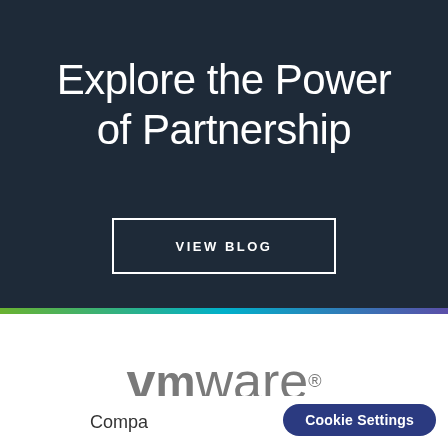Explore the Power of Partnership
VIEW BLOG
[Figure (logo): VMware logo in gray text on white background]
Compa
Cookie Settings